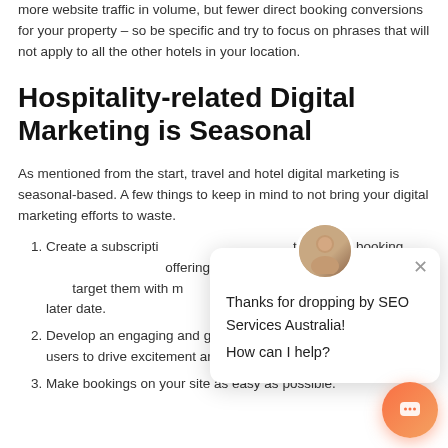more website traffic in volume, but fewer direct booking conversions for your property – so be specific and try to focus on phrases that will not apply to all the other hotels in your location.
Hospitality-related Digital Marketing is Seasonal
As mentioned from the start, travel and hotel digital marketing is seasonal-based. A few things to keep in mind to not bring your digital marketing efforts to waste.
Create a subscription list that focuses on travel and booking related content and offerings. Here, you can gather contacts and target them with more specific and relevant information at a later date.
Develop an engaging and gratifying social media experience for users to drive excitement around traveling with or to your brand.
Make bookings on your site as easy as possible.
[Figure (screenshot): Chat popup widget with avatar photo, message 'Thanks for dropping by SEO Services Australia! How can I help?' and a close button, plus an orange chat button in the bottom right corner.]